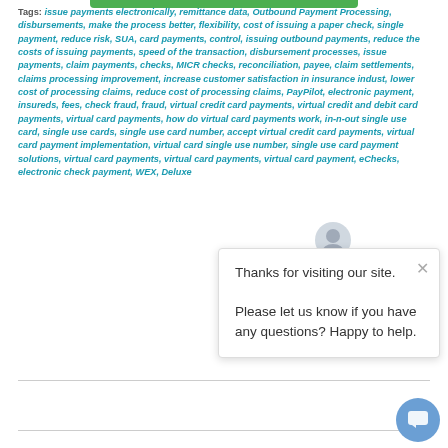Tags: issue payments electronically, remittance data, Outbound Payment Processing, disbursements, make the process better, flexibility, cost of issuing a paper check, single payment, reduce risk, SUA, card payments, control, issuing outbound payments, reduce the costs of issuing payments, speed of the transaction, disbursement processes, issue payments, claim payments, checks, MICR checks, reconciliation, payee, claim settlements, claims processing improvement, increase customer satisfaction in insurance indust, lower cost of processing claims, reduce cost of processing claims, PayPilot, electronic payment, insureds, fees, check fraud, fraud, virtual credit card payments, virtual credit and debit card payments, virtual card payments, how do virtual card payments work, in-n-out single use card, single use cards, single use card number, accept virtual credit card payments, virtual card payment implementation, virtual card single use number, single use card payment solutions, virtual card payments, virtual card payments, virtual card payment, eChecks, electronic check payment, WEX, Deluxe
[Figure (screenshot): Chat popup overlay with avatar icon, close button (×), and message: 'Thanks for visiting our site. Please let us know if you have any questions? Happy to help.']